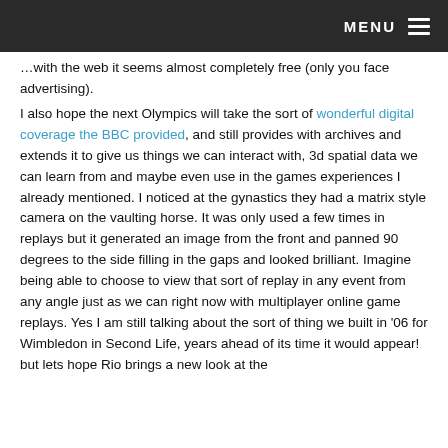MENU
…with the web it seems almost completely free (only you face advertising). I also hope the next Olympics will take the sort of wonderful digital coverage the BBC provided, and still provides with archives and extends it to give us things we can interact with, 3d spatial data we can learn from and maybe even use in the games experiences I already mentioned. I noticed at the gynastics they had a matrix style camera on the vaulting horse. It was only used a few times in replays but it generated an image from the front and panned 90 degrees to the side filling in the gaps and looked brilliant. Imagine being able to choose to view that sort of replay in any event from any angle just as we can right now with multiplayer online game replays. Yes I am still talking about the sort of thing we built in '06 for Wimbledon in Second Life, years ahead of its time it would appear! but lets hope Rio brings a new look at the